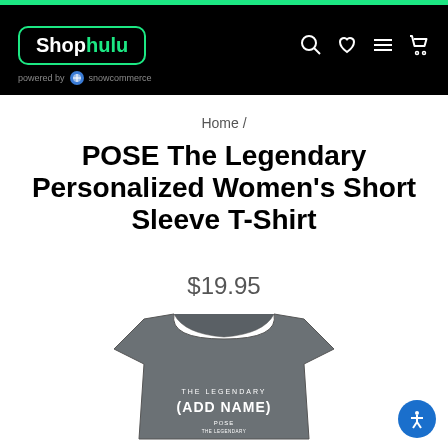[Figure (screenshot): Shop Hulu e-commerce website header with black background, green-bordered logo reading 'Shop hulu', navigation icons (search, heart, menu, cart), and 'powered by snowcommerce' text below.]
Home /
POSE The Legendary Personalized Women's Short Sleeve T-Shirt
$19.95
[Figure (photo): Gray women's short sleeve t-shirt with white text reading 'THE LEGENDARY (ADD NAME) POSE' printed on the front.]